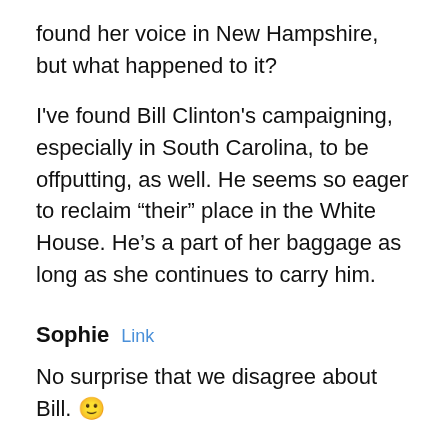found her voice in New Hampshire, but what happened to it?
I've found Bill Clinton's campaigning, especially in South Carolina, to be offputting, as well. He seems so eager to reclaim “their” place in the White House. He’s a part of her baggage as long as she continues to carry him.
Sophie  Link
No surprise that we disagree about Bill. 🙂
She is who she is. She’s done what she had to do–backwards and in high heels, as they say. Maybe her steely persona is why Bill was elected first–he’s